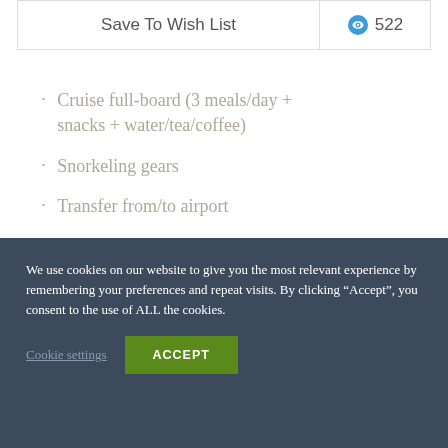[Figure (screenshot): Top bar with 'Save To Wish List' button on left and eye icon with count 522 on right]
Cruise full-board (3 meals/day + snacks + water/tea/coffee)
Snorkeling gears
Transfer from/to airport
We use cookies on our website to give you the most relevant experience by remembering your preferences and repeat visits. By clicking “Accept”, you consent to the use of ALL the cookies.
Cookie settings   ACCEPT